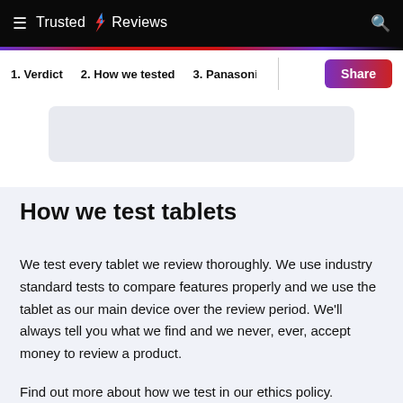Trusted Reviews
1. Verdict  2. How we tested  3. Panasonic To
[Figure (other): Light blue-grey rounded rectangle placeholder/ad box]
How we test tablets
We test every tablet we review thoroughly. We use industry standard tests to compare features properly and we use the tablet as our main device over the review period. We’ll always tell you what we find and we never, ever, accept money to review a product.
Find out more about how we test in our ethics policy.